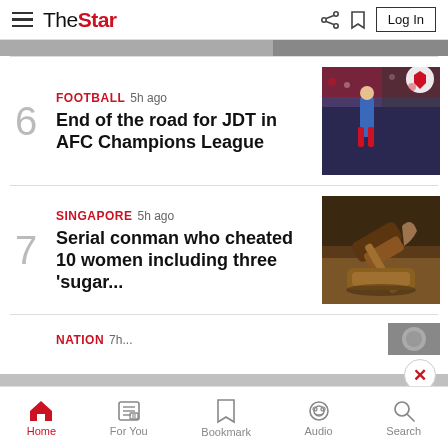The Star - Log In
[Figure (screenshot): Partial thumbnail of an article image at top]
6 FOOTBALL 5h ago - End of the road for JDT in AFC Champions League
[Figure (photo): Football players on a pitch with crowd in background, AFC Champions League]
7 SINGAPORE 5h ago - Serial conman who cheated 10 women including three 'sugar...
[Figure (photo): Judge's gavel on wooden surface]
[Figure (photo): Partial Nation article thumbnail]
Read unlimited content without ads. More info on our Premium Plan. >
Home | For You | Bookmark | Audio | Search